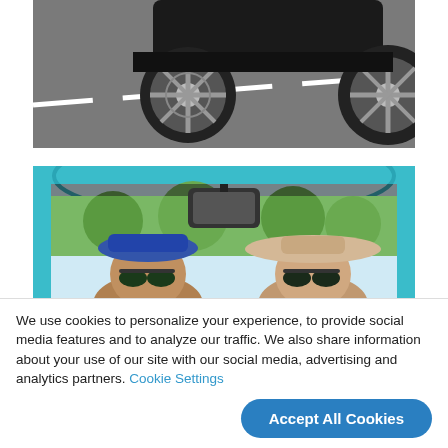[Figure (photo): Top portion of a black car wheel/tire on asphalt road with a white lane marking, viewed from rear angle]
[Figure (photo): Selfie photo taken from inside a car (convertible with teal/blue frame), showing the rearview mirror at top, and two people wearing hats and sunglasses seated in the car, with trees visible in background]
We use cookies to personalize your experience, to provide social media features and to analyze our traffic. We also share information about your use of our site with our social media, advertising and analytics partners. Cookie Settings
Accept All Cookies